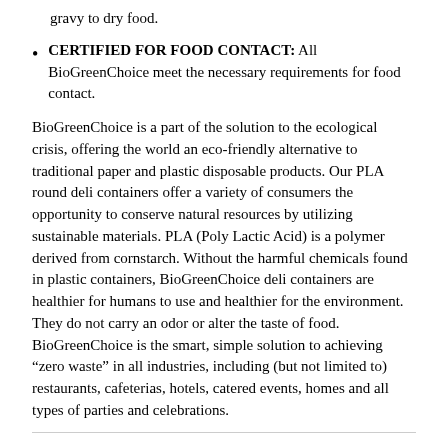gravy to dry food.
CERTIFIED FOR FOOD CONTACT: All BioGreenChoice meet the necessary requirements for food contact.
BioGreenChoice is a part of the solution to the ecological crisis, offering the world an eco-friendly alternative to traditional paper and plastic disposable products. Our PLA round deli containers offer a variety of consumers the opportunity to conserve natural resources by utilizing sustainable materials. PLA (Poly Lactic Acid) is a polymer derived from cornstarch. Without the harmful chemicals found in plastic containers, BioGreenChoice deli containers are healthier for humans to use and healthier for the environment. They do not carry an odor or alter the taste of food. BioGreenChoice is the smart, simple solution to achieving “zero waste” in all industries, including (but not limited to) restaurants, cafeterias, hotels, catered events, homes and all types of parties and celebrations.